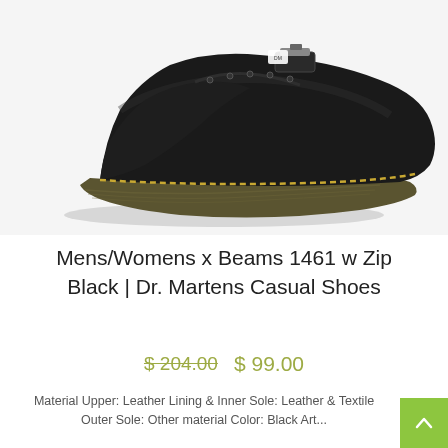[Figure (photo): Black Dr. Martens 1461 w Zip casual shoe with yellow stitching and chunky sole, viewed from the side on white background]
Mens/Womens x Beams 1461 w Zip Black | Dr. Martens Casual Shoes
$ 204.00  $ 99.00
Material Upper: Leather Lining & Inner Sole: Leather & Textile Outer Sole: Other material Color: Black Art...